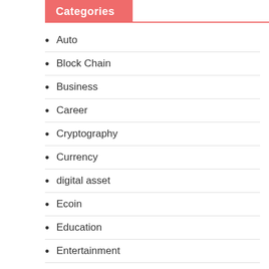Categories
Auto
Block Chain
Business
Career
Cryptography
Currency
digital asset
Ecoin
Education
Entertainment
Fashion